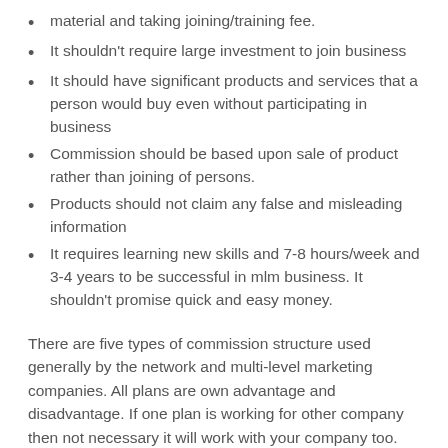material and taking joining/training fee.
It shouldn't require large investment to join business
It should have significant products and services that a person would buy even without participating in business
Commission should be based upon sale of product rather than joining of persons.
Products should not claim any false and misleading information
It requires learning new skills and 7-8 hours/week and 3-4 years to be successful in mlm business. It shouldn't promise quick and easy money.
There are five types of commission structure used generally by the network and multi-level marketing companies. All plans are own advantage and disadvantage. If one plan is working for other company then not necessary it will work with your company too. You have to choose your compensation plan